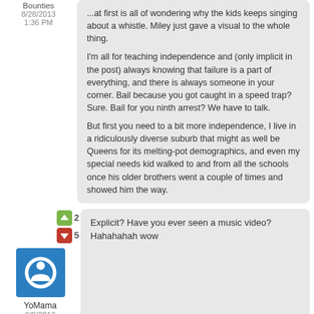...at first is all of wondering why the kids keeps singing about a whistle. Miley just gave a visual to the whole thing.
I'm all for teaching independence and (only implicit in the post) always knowing that failure is a part of everything, and there is always someone in your corner. Bail because you got caught in a speed trap? Sure. Bail for you ninth arrest? We have to talk.
But first you need to a bit more independence, I live in a ridiculously diverse suburb that might as well be Queens for its melting-pot demographics, and even my special needs kid walked to and from all the schools once his older brothers went a couple of times and showed him the way.
Bounties
8/28/2013
1:36 PM
Explicit? Have you ever seen a music video? Hahahahah wow
YoMama
9/9/2013
3:23 PM
Ah, alas....I thought blogs were an open forum where people share their thoughts and ideas as it relates to